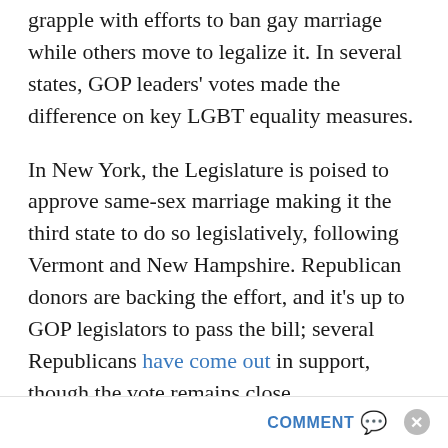grapple with efforts to ban gay marriage while others move to legalize it. In several states, GOP leaders' votes made the difference on key LGBT equality measures.
In New York, the Legislature is poised to approve same-sex marriage making it the third state to do so legislatively, following Vermont and New Hampshire. Republican donors are backing the effort, and it's up to GOP legislators to pass the bill; several Republicans have come out in support, though the vote remains close.
In Iowa, former state Sen. Jeff Angelo launched Iowa Republicans for Freedom, a campaign for
COMMENT